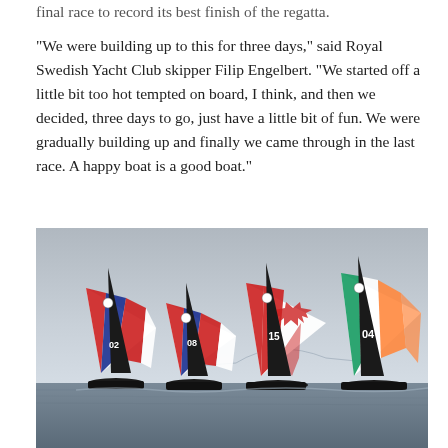final race to record its best finish of the regatta.
"We were building up to this for three days," said Royal Swedish Yacht Club skipper Filip Engelbert. "We started off a little bit too hot tempted on board, I think, and then we decided, three days to go, just have a little bit of fun. We were gradually building up and finally we came through in the last race. A happy boat is a good boat."
[Figure (photo): Sailboats with colorful spinnakers racing on the water. Several boats visible with numbered sails (02, 08, 15, 04) bearing flags of the USA, Canada, and Ireland. Overcast grey sky and a bridge visible in the background.]